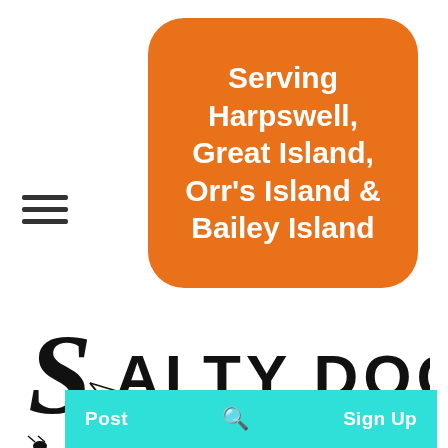[Figure (infographic): Orange rounded rectangle badge with white bold text reading: Serving Harpswell, Great Island, Orr's Island & Bailey Island]
[Figure (logo): Salty Dog Pet Services, LLC logo: black script and serif lettering with illustration of a large dog standing in a boat towing a smaller boat with two smaller animals, and a bird silhouette]
[Figure (infographic): Teal/turquoise navigation bar at the bottom with white text: Post (left), search icon (center), Sign Up (right)]